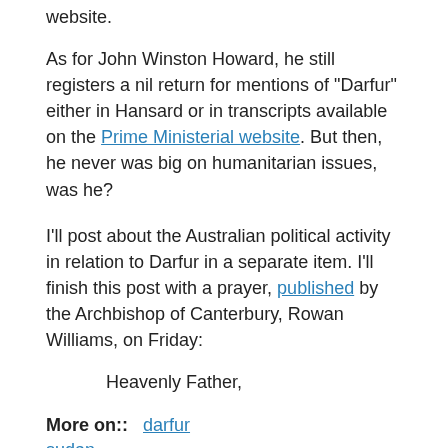website.
As for John Winston Howard, he still registers a nil return for mentions of "Darfur" either in Hansard or in transcripts available on the Prime Ministerial website. But then, he never was big on humanitarian issues, was he?
I'll post about the Australian political activity in relation to Darfur in a separate item. I'll finish this post with a prayer, published by the Archbishop of Canterbury, Rowan Williams, on Friday:
Heavenly Father,
More on:: darfur
sudan
Read more   rickeyre's blog   Log in to post